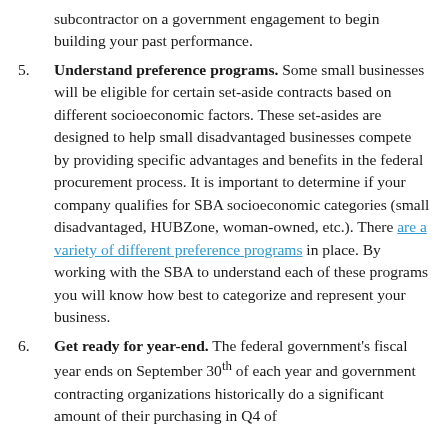subcontractor on a government engagement to begin building your past performance.
Understand preference programs. Some small businesses will be eligible for certain set-aside contracts based on different socioeconomic factors. These set-asides are designed to help small disadvantaged businesses compete by providing specific advantages and benefits in the federal procurement process. It is important to determine if your company qualifies for SBA socioeconomic categories (small disadvantaged, HUBZone, woman-owned, etc.). There are a variety of different preference programs in place. By working with the SBA to understand each of these programs you will know how best to categorize and represent your business.
Get ready for year-end. The federal government's fiscal year ends on September 30th of each year and government contracting organizations historically do a significant amount of their purchasing in Q4 of